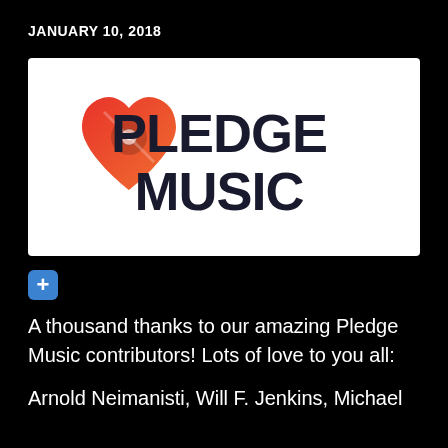JANUARY 10, 2018
[Figure (logo): PledgeMusic logo: red-orange gradient heart with vinyl record cutout on left, bold dark navy text 'PLEDGE MUSIC' on right, on white background]
[Figure (other): Blue plus/add button icon]
A thousand thanks to our amazing Pledge Music contributors! Lots of love to you all:
Arnold Neimanisti, Will F. Jenkins, Michael